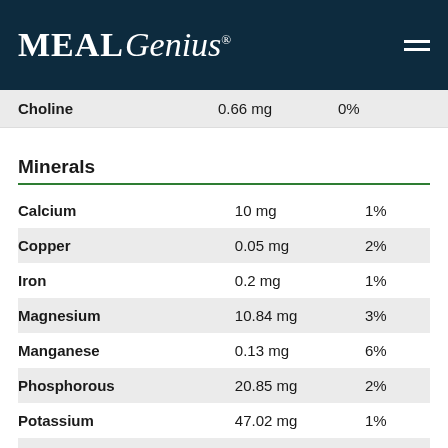MealGenius
|  |  |  |
| --- | --- | --- |
| Choline | 0.66 mg | 0% |
Minerals
| Mineral | Amount | %DV |
| --- | --- | --- |
| Calcium | 10 mg | 1% |
| Copper | 0.05 mg | 2% |
| Iron | 0.2 mg | 1% |
| Magnesium | 10.84 mg | 3% |
| Manganese | 0.13 mg | 6% |
| Phosphorous | 20.85 mg | 2% |
| Potassium | 47.02 mg | 1% |
| Selenium | 0.21 mcg | 0% |
| Sodium | 78.34 mg | 3% |